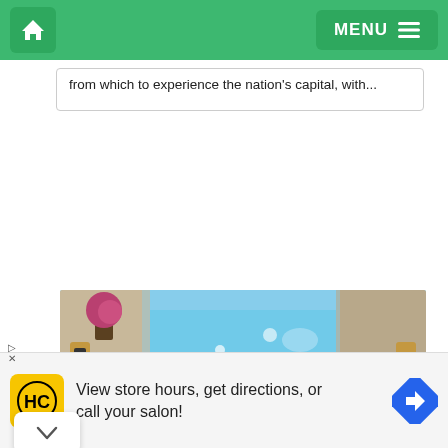MENU
from which to experience the nation's capital, with...
[Figure (photo): Aerial or wide-angle view of a hotel pool area with a person in a pink swimsuit standing near the pool, surrounded by lounge chairs and greenery]
View store hours, get directions, or call your salon!